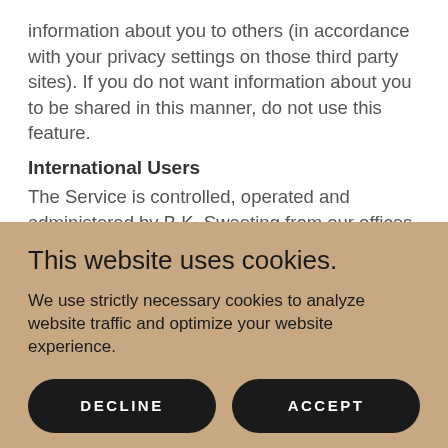information about you to others (in accordance with your privacy settings on those third party sites). If you do not want information about you to be shared in this manner, do not use this feature.
International Users
The Service is controlled, operated and administered by B.K. Sweeting from our offices within the USA. If you access the Service from a location outside the USA, you are responsible f...
This website uses cookies.
We use strictly necessary cookies to analyze website traffic and optimize your website experience.